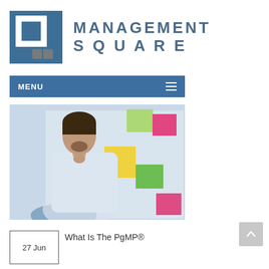[Figure (logo): Management Square logo: blue square bracket icon with white inner square and two grey squares at bottom, beside the text MANAGEMENT SQUARE in steel blue spaced letters]
[Figure (other): Navigation menu bar in blue with MENU text on left and hamburger icon on right]
[Figure (photo): A man in a white shirt touching his chin thoughtfully, standing in front of a glass wall covered with colorful sticky notes (green, yellow, pink) in an office setting]
27 Jun
What Is The PgMP®